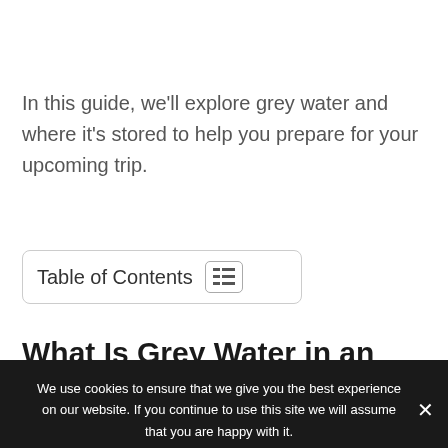In this guide, we'll explore grey water and where it's stored to help you prepare for your upcoming trip.
Table of Contents
What Is Grey Water in an RV?
We use cookies to ensure that we give you the best experience on our website. If you continue to use this site we will assume that you are happy with it.